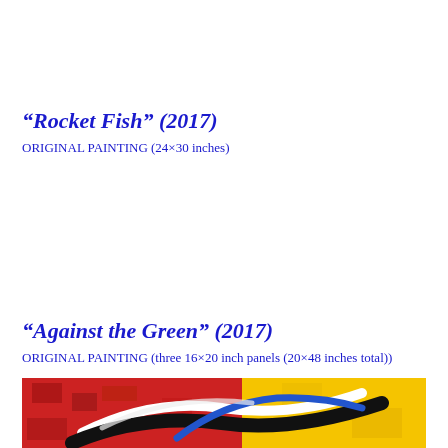“Rocket Fish” (2017)
ORIGINAL PAINTING (24×30 inches)
“Against the Green” (2017)
ORIGINAL PAINTING (three 16×20 inch panels (20×48 inches total))
[Figure (photo): Bottom portion of a colorful abstract painting showing red and yellow background with curved brushstroke forms in black, white, and blue.]